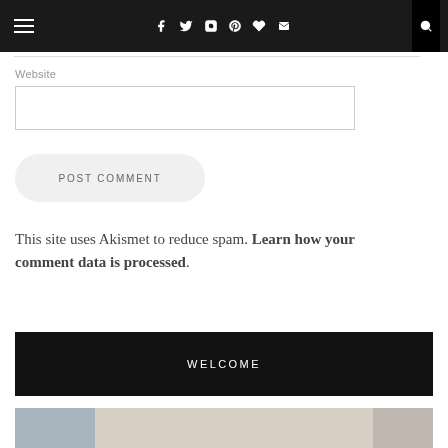Navigation bar with hamburger menu and social icons (Facebook, Twitter, Instagram, Pinterest, Heart, Mail)
Website
POST COMMENT
This site uses Akismet to reduce spam. Learn how your comment data is processed.
WELCOME
[Figure (photo): Partial bottom image strip showing decorative/lifestyle photograph]